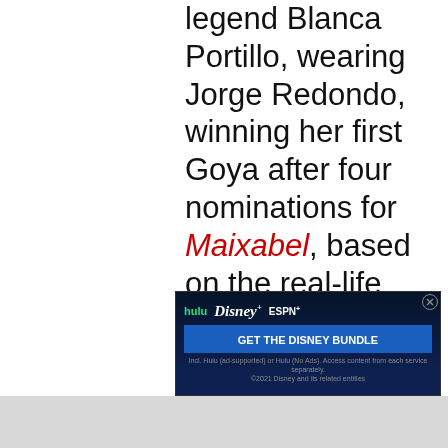legend Blanca Portillo, wearing Jorge Redondo, winning her first Goya after four nominations for Maixabel, based on the real-life meeting between an ETA terrorist and the widow of one of his victims. The movie and her performance look terrific by the way, adding to a wave of acclaimed productions based on the Basque conflict.
[Figure (screenshot): Advertisement banner for Disney Bundle (Hulu, Disney+, ESPN+) with dark blue background and green/white text saying GET THE DISNEY BUNDLE]